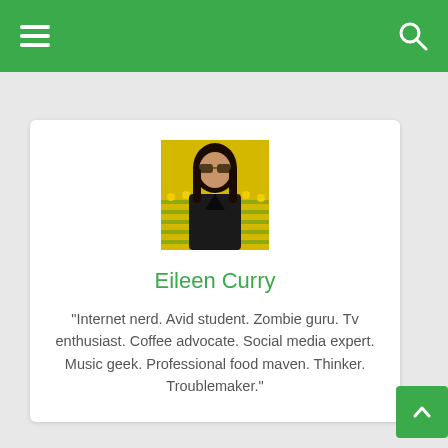[Figure (photo): Profile photo of Eileen Curry — woman with dark hair and sunglasses in front of yellow flowers field]
Eileen Curry
"Internet nerd. Avid student. Zombie guru. Tv enthusiast. Coffee advocate. Social media expert. Music geek. Professional food maven. Thinker. Troublemaker."